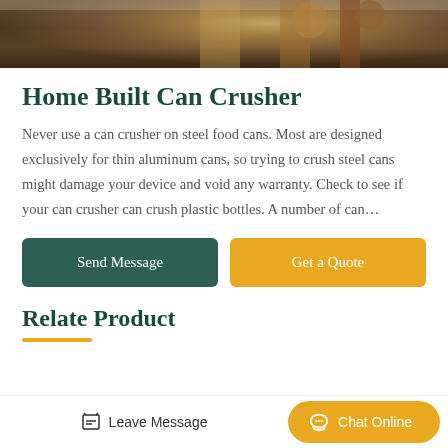[Figure (photo): Partial photo of a home built can crusher mechanism with metal parts visible against a gray background.]
Home Built Can Crusher
Never use a can crusher on steel food cans. Most are designed exclusively for thin aluminum cans, so trying to crush steel cans might damage your device and void any warranty. Check to see if your can crusher can crush plastic bottles. A number of can…
Send Message
Get a Quote
Relate Product
Leave Message
Chat Online